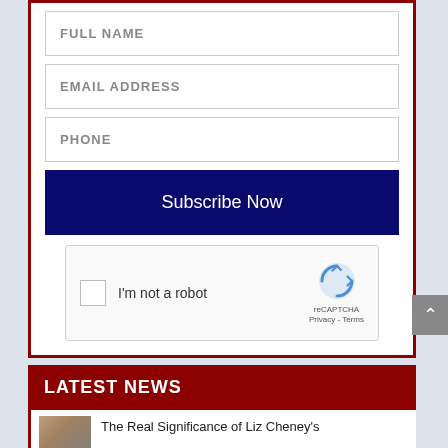[Figure (screenshot): Web form with fields for Full Name, Email Address, Phone, a Subscribe Now button, and a reCAPTCHA widget inside a red-bordered container]
LATEST NEWS
The Real Significance of Liz Cheney's